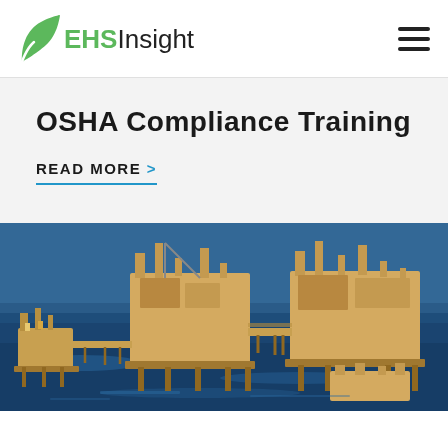EHS Insight
OSHA Compliance Training
READ MORE >
[Figure (photo): Aerial view of offshore oil platform rigs connected by bridges over deep blue ocean water]